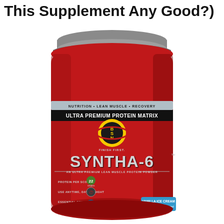This Supplement Any Good?)
[Figure (photo): BSN Syntha-6 Ultra Premium Protein Matrix supplement tub in red color. Label reads: NUTRITION • LEAN MUSCLE • RECOVERY, ULTRA PREMIUM PROTEIN MATRIX, BSN FINISH FIRST logo, SYNTHA-6, AN ULTRA PREMIUM LEAN MUSCLE PROTEIN POWDER, PROTEIN PER SCOOP 22, USE ANYTIME DAY OR NIGHT, ESSENTIAL AMINO ACIDS (EAAs) PER SERVING 10, VANILLA ICE CREAM flavor. Gray lid on top.]